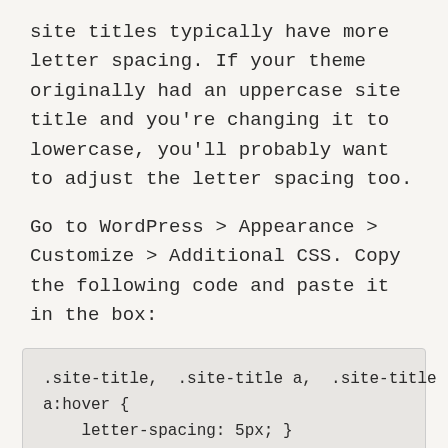site titles typically have more letter spacing. If your theme originally had an uppercase site title and you're changing it to lowercase, you'll probably want to adjust the letter spacing too.
Go to WordPress > Appearance > Customize > Additional CSS. Copy the following code and paste it in the box:
.site-title, .site-title a, .site-title a:hover {
    letter-spacing: 5px; }
The 5px value can be changed. Pop the